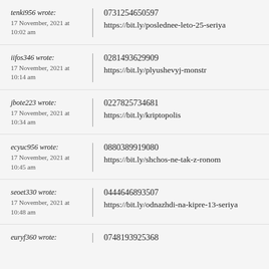tenki956 wrote:
17 November, 2021 at 10:02 am
0731254650597
https://bit.ly/poslednee-leto-25-seriya
iifos346 wrote:
17 November, 2021 at 10:14 am
0281493629909
https://bit.ly/plyushevyj-monstr
jbote223 wrote:
17 November, 2021 at 10:34 am
0227825734681
https://bit.ly/kriptopolis
ecyuc956 wrote:
17 November, 2021 at 10:45 am
0880389919080
https://bit.ly/shchos-ne-tak-z-ronom
seoet330 wrote:
17 November, 2021 at 10:48 am
0444646893507
https://bit.ly/odnazhdi-na-kipre-13-seriya
euryf360 wrote:
0748193925368